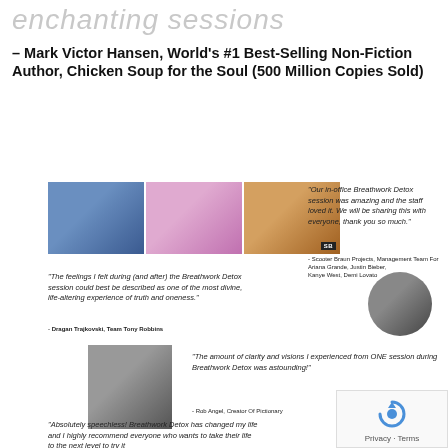enchanting sessions
– Mark Victor Hansen, World's #1 Best-Selling Non-Fiction Author, Chicken Soup for the Soul (500 Million Copies Sold)
TESTIMONIALS
[Figure (photo): Three celebrity photos side by side: male pop artist, female pop artist (Ariana Grande), and male artist with SB logo]
"Our in-office Breathwork Detox session was amazing and the staff loved it. We will be sharing this with everyone, thank you so much."
- Scooter Braun Projects, Management Team For Ariana Grande, Justin Bieber, Kanye West, Demi Lovato
"The feelings I felt during (and after) the Breathwork Detox session could best be described as one of the most divine, life-altering experience of truth and oneness."
- Dragan Trajkovski, Team Tony Robbins
[Figure (photo): Photo of two men smiling, circular crop]
[Figure (photo): Man in suit holding a dark box/product]
"The amount of clarity and visions I experienced from ONE session during Breathwork Detox was astounding!"
- Rob Angel, Creator Of Pictionary
"Absolutely speechless! Breathwork Detox has changed my life and I highly recommend everyone who wants to take their life to the next level to try it
[Figure (photo): Circular photo of person in suit]